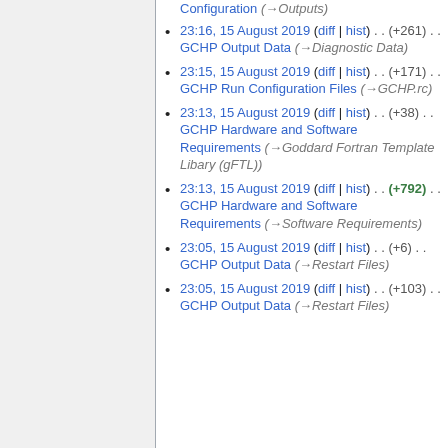23:16, 15 August 2019 (diff | hist) . . (+261) . . GCHP Output Data (→Diagnostic Data)
23:15, 15 August 2019 (diff | hist) . . (+171) . . GCHP Run Configuration Files (→GCHP.rc)
23:13, 15 August 2019 (diff | hist) . . (+38) . . GCHP Hardware and Software Requirements (→Goddard Fortran Template Libary (gFTL))
23:13, 15 August 2019 (diff | hist) . . (+792) . . GCHP Hardware and Software Requirements (→Software Requirements)
23:05, 15 August 2019 (diff | hist) . . (+6) . . GCHP Output Data (→Restart Files)
23:05, 15 August 2019 (diff | hist) . . (+103) . . GCHP Output Data (→Restart Files)